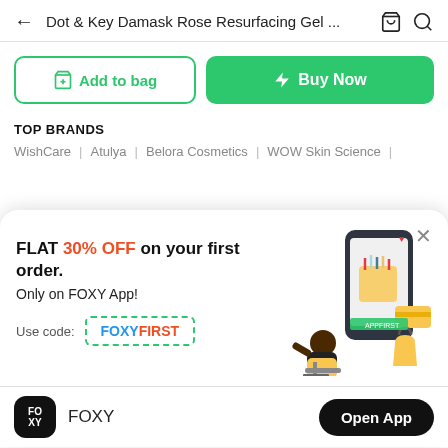Dot & Key Damask Rose Resurfacing Gel ...
Add to bag
Buy Now
TOP BRANDS
WishCare | Atulya | Belora Cosmetics | WOW Skin Science |
FLAT 30% OFF on your first order.
Only on FOXY App!
Use code: FOXYFIRST
[Figure (illustration): Illustration of a person sitting with a phone showing beauty products, a shopping bag, and a credit card]
FOXY
Open App